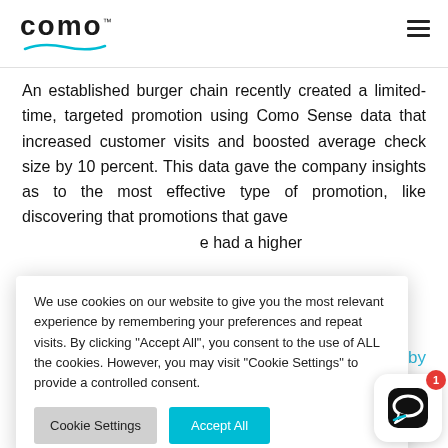como™ [logo with hamburger menu]
An established burger chain recently created a limited-time, targeted promotion using Como Sense data that increased customer visits and boosted average check size by 10 percent. This data gave the company insights as to the most effective type of promotion, like discovering that promotions that gave [obscured] had a higher
[partial] Check Size by
We use cookies on our website to give you the most relevant experience by remembering your preferences and repeat visits. By clicking "Accept All", you consent to the use of ALL the cookies. However, you may visit "Cookie Settings" to provide a controlled consent.
[partial] variety [partial] factor f[obscured]
business to succeed. While each requires a different